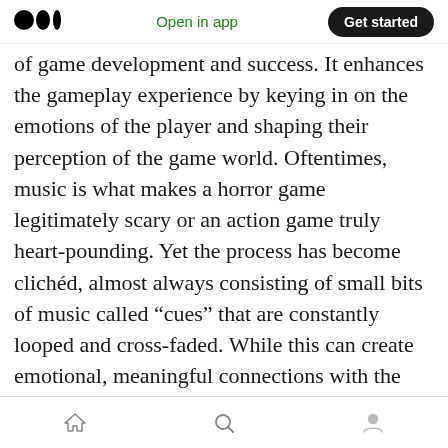Medium logo | Open in app | Get started
of game development and success. It enhances the gameplay experience by keying in on the emotions of the player and shaping their perception of the game world. Oftentimes, music is what makes a horror game legitimately scary or an action game truly heart-pounding. Yet the process has become clichéd, almost always consisting of small bits of music called “cues” that are constantly looped and cross-faded. While this can create emotional, meaningful connections with the player in the short-term, sooner or later the music will become repetitive and dull the more time a player spends in a game
Home | Search | Profile